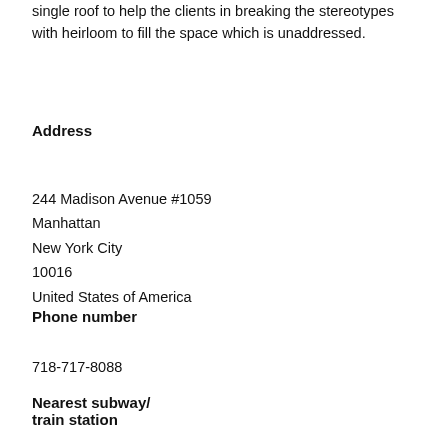single roof to help the clients in breaking the stereotypes with heirloom to fill the space which is unaddressed.
Address
244 Madison Avenue #1059
Manhattan
New York City
10016
United States of America
Phone number
718-717-8088
Nearest subway/ train station
Grand Central Terminal